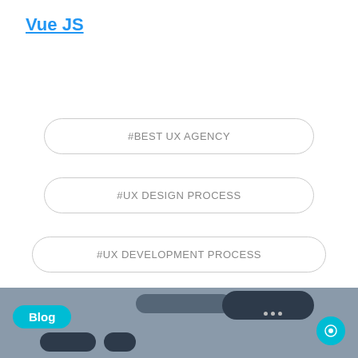Vue JS
#BEST UX AGENCY
#UX DESIGN PROCESS
#UX DEVELOPMENT PROCESS
[Figure (infographic): Social media share icons: Facebook, Twitter, LinkedIn]
Published Date: September 9, 2019
[Figure (screenshot): Blog section preview strip with cyan Blog label badge, dark UI blobs on gray background, cyan chat button bottom right]